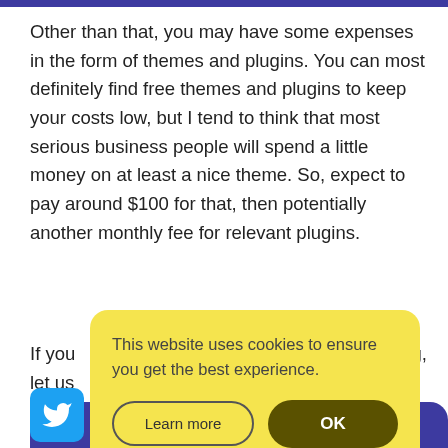Other than that, you may have some expenses in the form of themes and plugins. You can most definitely find free themes and plugins to keep your costs low, but I tend to think that most serious business people will spend a little money on at least a nice theme. So, expect to pay around $100 for that, then potentially another monthly fee for relevant plugins.
If you [obscured by cookie banner] icing, let us [obscured]
[Figure (screenshot): Cookie consent banner with yellow background. Text reads: 'This website uses cookies to ensure you get the best experience.' Two buttons: 'Learn more' (outlined) and 'OK' (dark yellow/brown filled).]
[Figure (logo): Twitter bird logo in white on blue rounded square background]
Compare the best ecommerce platforms